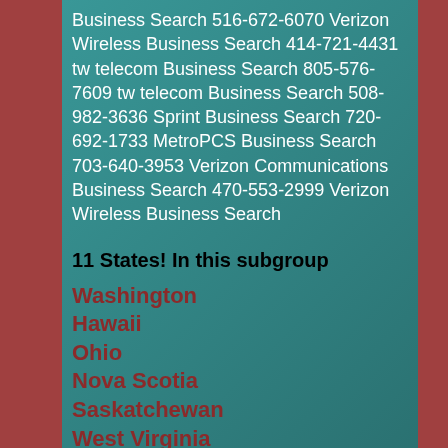Business Search 516-672-6070 Verizon Wireless Business Search 414-721-4431 tw telecom Business Search 805-576-7609 tw telecom Business Search 508-982-3636 Sprint Business Search 720-692-1733 MetroPCS Business Search 703-640-3953 Verizon Communications Business Search 470-553-2999 Verizon Wireless Business Search
11 States! In this subgroup
Washington
Hawaii
Ohio
Nova Scotia
Saskatchewan
West Virginia
Tennessee
Northwest Territories
North Dakota